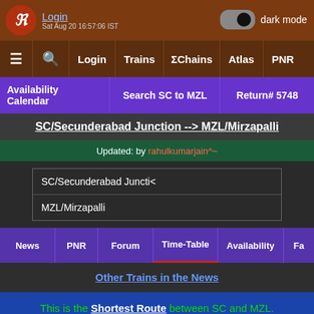Login | dark mode | Sat Aug 20 16:57:06 IST
≡ 🔍 Login  Trains  ΣChains  Atlas  PNR
Availability Calendar | Search SC to MZL | Return# 5748
SC/Secunderabad Junction --> MZL/Mirzapalli
Updated: by rahulkumarjain^~
SC/Secunderabad Junction
MZL/Mirzapalli
News  PNR  Forum  Time-Table  Availability  Fa
Other Trains in the News
This is the Shortest Route between SC and MZL. Travel Time: 1h 50m   9 halts Distance: 71 km   Avg Speed: 39 km/hr Max Permissible Speed: n/a